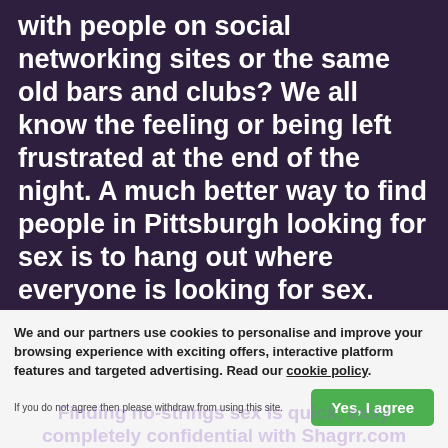with people on social networking sites or the same old bars and clubs? We all know the feeling or being left frustrated at the end of the night. A much better way to find people in Pittsburgh looking for sex is to hang out where everyone is looking for sex. Shagrr is the leading adult contacts site in The United States, trusted buy millions of people who know how to have a good time.
We and our partners use cookies to personalise and improve your browsing experience with exciting offers, interactive platform features and targeted advertising. Read our cookie policy.
If you do not agree then please withdraw from using this site.